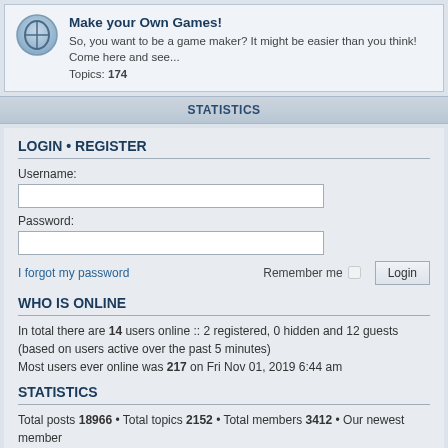[Figure (illustration): Forum icon: a pencil/gamepad icon in a circular badge]
Make your Own Games! So, you want to be a game maker? It might be easier than you think! Come here and see... Topics: 174
STATISTICS
LOGIN • REGISTER
Username:
Password:
I forgot my password
Remember me
WHO IS ONLINE
In total there are 14 users online :: 2 registered, 0 hidden and 12 guests (based on users active over the past 5 minutes)
Most users ever online was 217 on Fri Nov 01, 2019 6:44 am
STATISTICS
Total posts 18966 • Total topics 2152 • Total members 3412 • Our newest member concernedPigeon
Board index   Delete cookies   All times are UTC
Style developer by support forum tricolor, Powered by phpBB® Forum Software © phpBB Limited